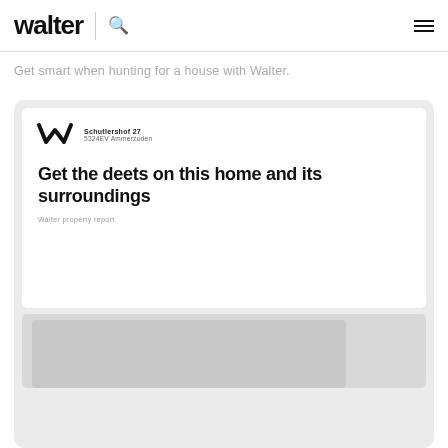walter | search menu
Get smart when hunting for a house with Walter.
[Figure (screenshot): Walter property report card showing the Walter logo mark, address 'Schutlershof 27, 5324EV Ammerzoden', heading 'Get the deets on this home and its surroundings', subtitle 'Walter property report', and a partial image strip below.]